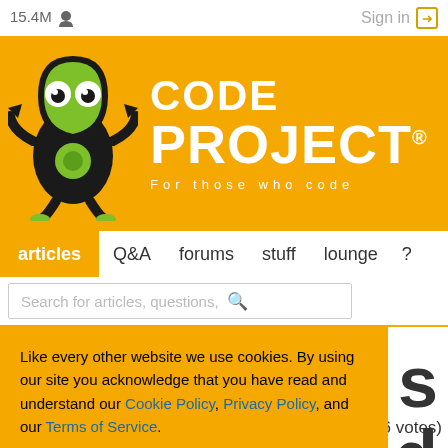15.4M  Sign in
[Figure (logo): CodeProject logo with mascot character (green alien with googly eyes) on orange background. Text reads CODE PROJECT® For those who code]
articles  Q&A  forums  stuff  lounge  ?
Search for articles, questions,
Like every other website we use cookies. By using our site you acknowledge that you have read and understand our Cookie Policy, Privacy Policy, and our Terms of Service. Learn more
Ask me later  Decline  Allow cookies